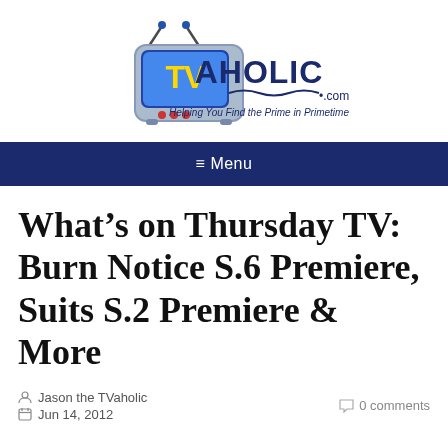[Figure (logo): TVaholic.com logo — cartoon TV set with yellow TV letters, blue AHOLIC text, .com, and tagline 'Helping You Find the Prime in Primetime']
≡ Menu
What's on Thursday TV: Burn Notice S.6 Premiere, Suits S.2 Premiere & More
Jason the TVaholic
Jun 14, 2012
0 comments